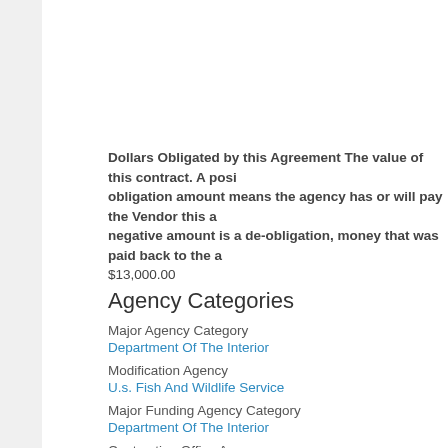Dollars Obligated by this Agreement The value of this contract. A positive obligation amount means the agency has or will pay the Vendor this amount. A negative amount is a de-obligation, money that was paid back to the agency.
$13,000.00
Agency Categories
Major Agency Category
Department Of The Interior
Modification Agency
U.s. Fish And Wildlife Service
Major Funding Agency Category
Department Of The Interior
Contracting Office Agency
U.s. Fish And Wildlife Service
Funding Requesting Agency
U.s. Fish And Wildlife Service
Agency
U.s. Fish And Wildlife Service
Offices